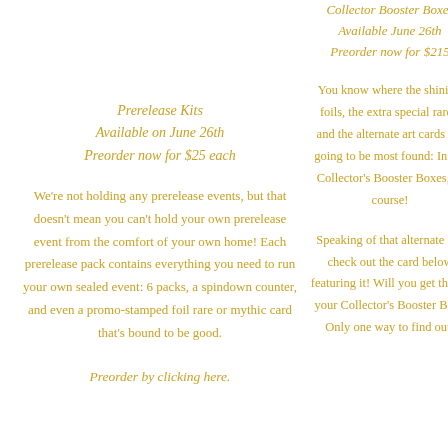Collector Booster Boxes
Available June 26th
Preorder now for $215
Prerelease Kits
Available on June 26th
Preorder now for $25 each
You know where the shiniest foils, the extra special rares, and the alternate art cards are going to be most found: In the Collector's Booster Boxes, of course!
We're not holding any prerelease events, but that doesn't mean you can't hold your own prerelease event from the comfort of your own home! Each prerelease pack contains everything you need to run your own sealed event: 6 packs, a spindown counter, and even a promo-stamped foil rare or mythic card that's bound to be good.
Speaking of that alternate art, check out the card below featuring it! Will you get this in your Collector's Booster Box? Only one way to find out!
Preorder by clicking here.